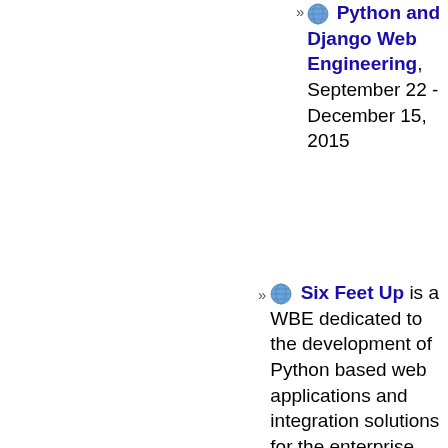Python and Django Web Engineering, September 22 - December 15, 2015
Six Feet Up is a WBE dedicated to the development of Python based web applications and integration solutions for the enterprise. The company runs the local Indianapolis Python Meetup group and regularly gives public and private corporate training on a variety of Python based systems and